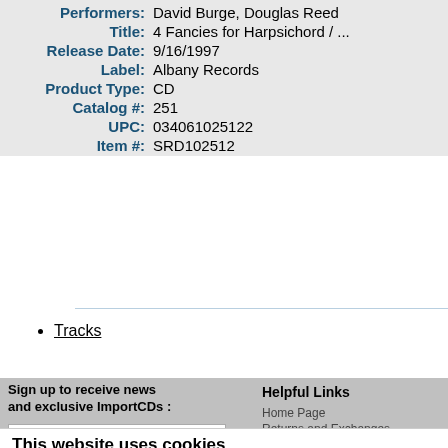Performers: David Burge, Douglas Reed
Title: 4 Fancies for Harpsichord / ...
Release Date: 9/16/1997
Label: Albany Records
Product Type: CD
Catalog #: 251
UPC: 034061025122
Item #: SRD102512
Tracks
Sign up to receive news and exclusive ImportCDs :
Helpful Links
Home Page
Returns and Exchanges
Digital Magazine Subscription
New Music Blog
This website uses cookies
We use cookies to personalise content and ads, to provide social media features and to analyse our traffic. We also share information about...